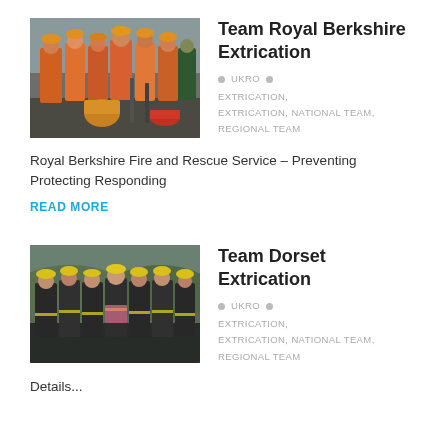[Figure (photo): Group photo of Royal Berkshire Extrication team in orange and hi-vis firefighting gear with equipment]
Team Royal Berkshire Extrication
UKRO • EXTRICATION, EXTRICATION, NATIONAL TEAM, REGIONAL TEAM
Royal Berkshire Fire and Rescue Service – Preventing Protecting Responding
READ MORE
[Figure (photo): Group photo of Team Dorset Extrication members in black gear with yellow helmets]
Team Dorset Extrication
UKRO • EXTRICATION, EXTRICATION, NATIONAL TEAM, REGIONAL TEAM
Details...